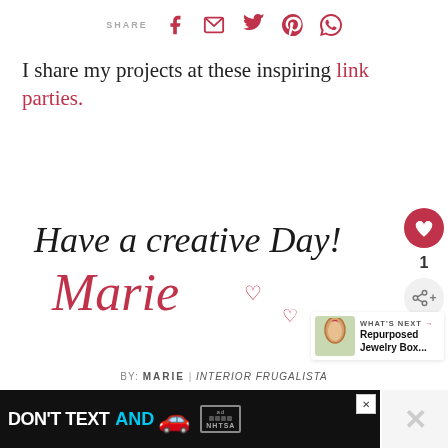SHARE [facebook] [email] [twitter] [pinterest] [whatsapp]
I share my projects at these inspiring link parties.
[Figure (illustration): Handwritten cursive signature reading 'Have a creative Day! Marie' with heart symbols in black and pink/red]
[Figure (infographic): Floating social sidebar with heart/like button, count of 1, and share button]
[Figure (infographic): What's Next promo showing an ornament image and text 'Repurposed Jewelry Box...']
BY: MARIE | INTERIOR FRUGALISTA
[Figure (screenshot): Ad banner: DON'T TEXT AND [car emoji] with NHTSA branding on dark background]